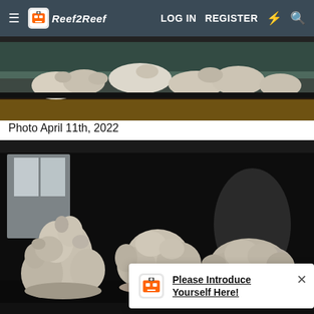Reef2Reef — LOG IN  REGISTER
[Figure (photo): Top-down or side view of dry white/cream live rock arranged inside a dark-framed aquarium tank on a wooden stand, viewed from slightly above]
Photo April 11th, 2022
[Figure (photo): Front view of a dark-framed aquarium with multiple pieces of dry white/cream porous reef rock arranged inside, room reflections visible in glass]
Please Introduce Yourself Here!